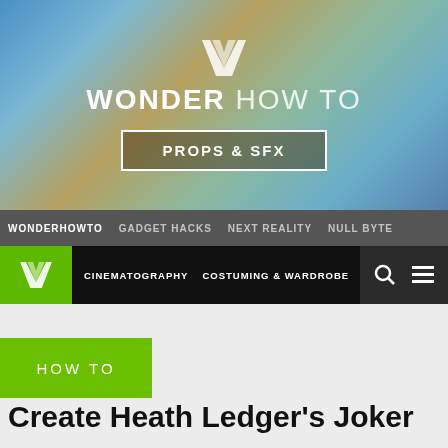[Figure (screenshot): Wonder How To website header banner with colorful gradient background (blue, teal, orange tones), a white geometric W logo icon, the brand name WONDER HOW TO in white bold text, and a PROPS & SFX button with white border]
WONDERHOWTO   GADGET HACKS   NEXT REALITY   NULL BYTE
CINEMATOGRAPHY   COSTUMING & WARDROBE   STO
HOW TO
Create Heath Ledger's Joker